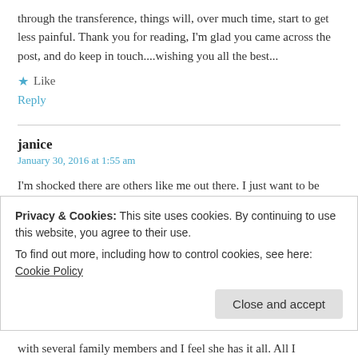through the transference, things will, over much time, start to get less painful. Thank you for reading, I'm glad you came across the post, and do keep in touch....wishing you all the best...
★ Like
Reply
janice
January 30, 2016 at 1:55 am
I'm shocked there are others like me out there. I just want to be able to say how I feel to someone (not my therapist). I go through phases of being angry at my T. It stems from
Privacy & Cookies: This site uses cookies. By continuing to use this website, you agree to their use.
To find out more, including how to control cookies, see here: Cookie Policy
Close and accept
with several family members and I feel she has it all. All I